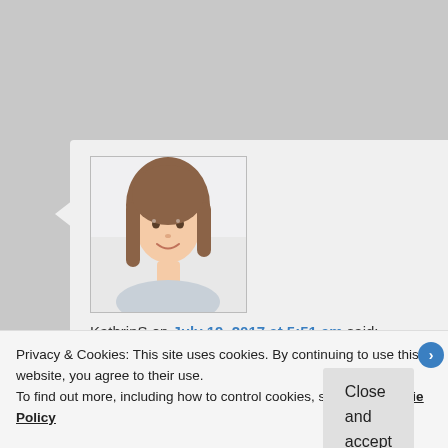[Figure (photo): Avatar photo of a young woman with brown hair, smiling, in a light indoor setting]
KathrinS on July 19, 2017 at 5:51 am said:
Wow, beautiful! Iceland is definitely on my bucket list. I love the photos of the horses, and also of the Waterfall of the Gods.
Kathrin — mycupofenglishtea.wordpress.com
Privacy & Cookies: This site uses cookies. By continuing to use this website, you agree to their use.
To find out more, including how to control cookies, see here: Cookie Policy